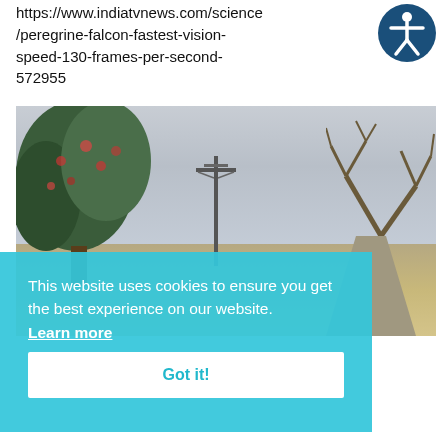https://www.indiatvnews.com/science/peregrine-falcon-fastest-vision-speed-130-frames-per-second-572955
[Figure (photo): Outdoor photograph showing trees (one with red flowers on left, bare tree on right), a utility/telephone pole in the middle distance, overcast gray sky, and a dirt road at right. A cookie consent overlay covers the lower portion.]
This website uses cookies to ensure you get the best experience on our website. Learn more
Got it!